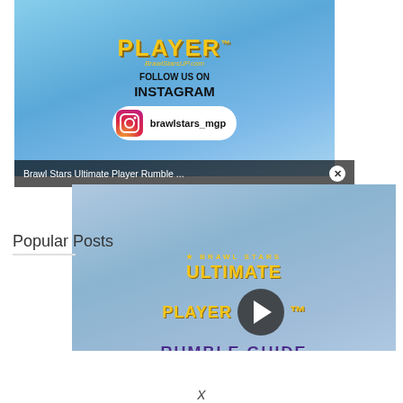[Figure (screenshot): Screenshot of a website showing Brawl Stars Ultimate Player content with Instagram follow prompt showing handle brawlstars_mgp and BrawlStarsUP.com website]
Brawl Stars Ultimate Player Rumble ...
[Figure (screenshot): Video thumbnail overlay showing Brawl Stars Ultimate Player Rumble Guide with a play button in the center]
Popular Posts
X